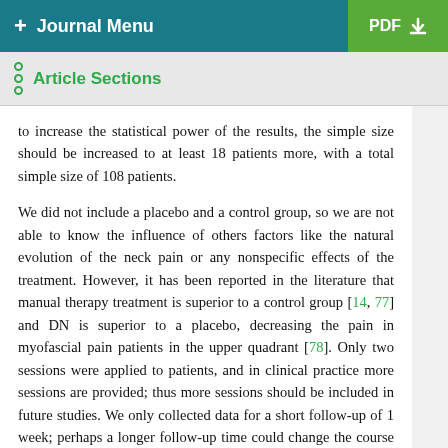+ Journal Menu   PDF ↓
Article Sections
to increase the statistical power of the results, the simple size should be increased to at least 18 patients more, with a total simple size of 108 patients.
We did not include a placebo and a control group, so we are not able to know the influence of others factors like the natural evolution of the neck pain or any nonspecific effects of the treatment. However, it has been reported in the literature that manual therapy treatment is superior to a control group [14, 77] and DN is superior to a placebo, decreasing the pain in myofascial pain patients in the upper quadrant [78]. Only two sessions were applied to patients, and in clinical practice more sessions are provided; thus more sessions should be included in future studies. We only collected data for a short follow-up of 1 week; perhaps a longer follow-up time could change the course of evolution. In spite of attempts to assess the changes of catastrophizing, many other psychological variables may be assessed such as depression, anxiety, or kinesiophobia because